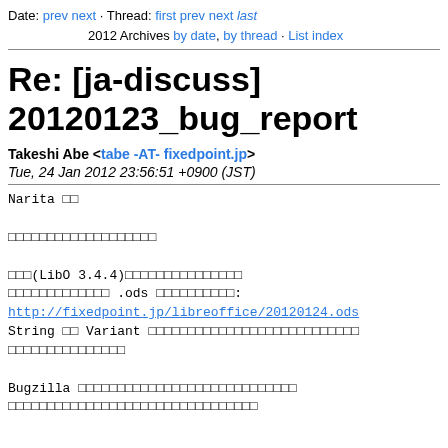Date: prev next · Thread: first prev next last
2012 Archives by date, by thread · List index
Re: [ja-discuss] 20120123_bug_report
Takeshi Abe <tabe -AT- fixedpoint.jp>
Tue, 24 Jan 2012 23:56:51 +0900 (JST)
Narita □□

□□□□□□□□□□□□□□□□□□□

□□□(LibO 3.4.4)□□□□□□□□□□□□□□□□
□□□□□□□□□□□□□ .ods □□□□□□□□□□:
http://fixedpoint.jp/libreoffice/20120124.ods
String □□ Variant □□□□□□□□□□□□□□□□□□□□□□□□□□□
□□□□□□□□□□□□□□□

Bugzilla □□□□□□□□□□□□□□□□□□□□□□□□□□□□
□□□□□□□□□□□□□□□□□□□□□□□□□□□□□□□□